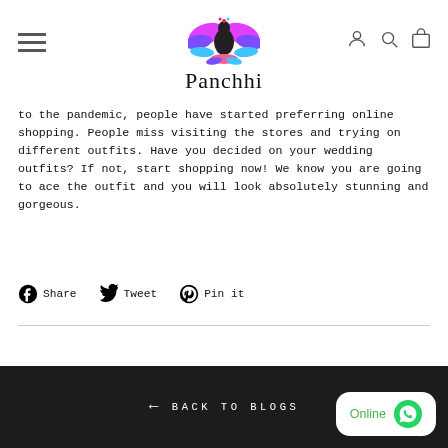Panchhi
to the pandemic, people have started preferring online shopping. People miss visiting the stores and trying on different outfits. Have you decided on your wedding outfits? If not, start shopping now! We know you are going to ace the outfit and you will look absolutely stunning and gorgeous.
Share  Tweet  Pin it
← BACK TO BLOGS